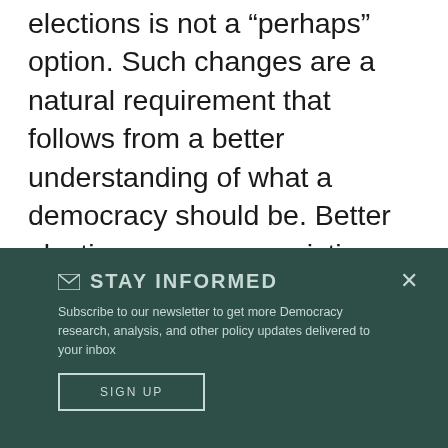elections is not a “perhaps” option. Such changes are a natural requirement that follows from a better understanding of what a democracy should be. Better elections are a synergistic partner to other reforms. We can’t have responsive, accountable self-governance using our current election methods which make most voters irrelevant.
STAY INFORMED
Subscribe to our newsletter to get more Democracy research, analysis, and other policy updates delivered to your inbox
SIGN UP